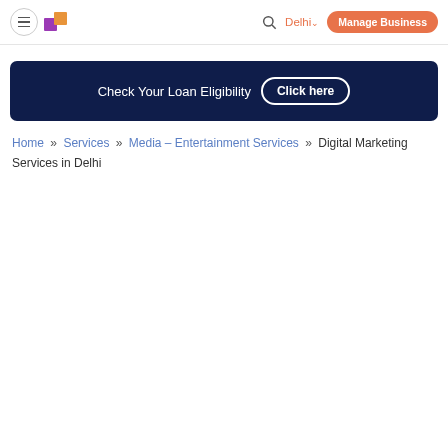≡ [logo] [search] Delhi ∨ Manage Business
[Figure (infographic): Dark navy banner with text 'Check Your Loan Eligibility' and a 'Click here' button with white border]
Home » Services » Media – Entertainment Services » Digital Marketing Services in Delhi